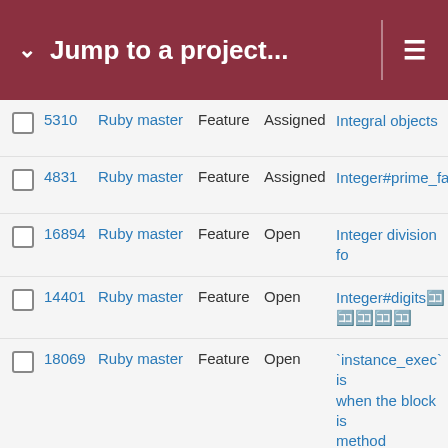Jump to a project...
|  | # | Project | Type | Status | Subject |
| --- | --- | --- | --- | --- | --- |
|  | 5310 | Ruby master | Feature | Assigned | Integral objects |
|  | 4831 | Ruby master | Feature | Assigned | Integer#prime_fac |
|  | 16894 | Ruby master | Feature | Open | Integer division fo |
|  | 14401 | Ruby master | Feature | Open | Integer#digits🈁🈁🈁 |
|  | 18069 | Ruby master | Feature | Open | `instance_exec` is when the block is method |
|  | 10513 | Ruby master | Misc | Open | instance_eval yiel receiver, but is do yield no argument |
|  | 18815 | Ruby master | Feature | Open | instance_{eval,exe Proc#>> |
|  | 16924 | Ruby master | Feature | Open | instance_eval equ RubyVM::Instructi |
|  | 18423 | Ruby master | Feature | Open | Installing stable ve 3.0.3 from source fatal error by make |